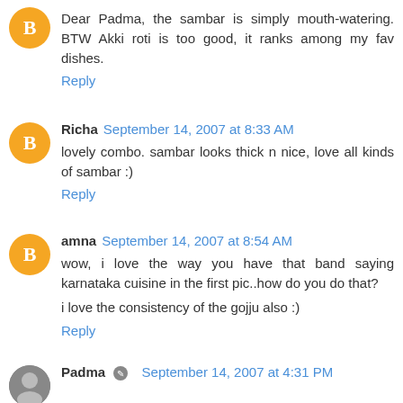Dear Padma, the sambar is simply mouth-watering. BTW Akki roti is too good, it ranks among my fav dishes.
Reply
Richa September 14, 2007 at 8:33 AM
lovely combo. sambar looks thick n nice, love all kinds of sambar :)
Reply
amna September 14, 2007 at 8:54 AM
wow, i love the way you have that band saying karnataka cuisine in the first pic..how do you do that?
i love the consistency of the gojju also :)
Reply
Padma September 14, 2007 at 4:31 PM